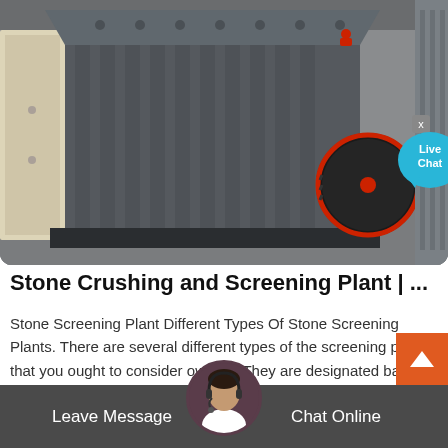[Figure (photo): Industrial stone crushing machine (impact crusher) in gray metal, with a large black and red pulley wheel visible on the right side, cream-colored side panel on the left, set in an industrial facility. A Live Chat bubble overlay appears in the bottom-right corner of the image.]
Stone Crushing and Screening Plant | ...
Stone Screening Plant Different Types Of Stone Screening Plants. There are several different types of the screening plants that you ought to consider owning. They are designated based upon the type of material they are ca of ...